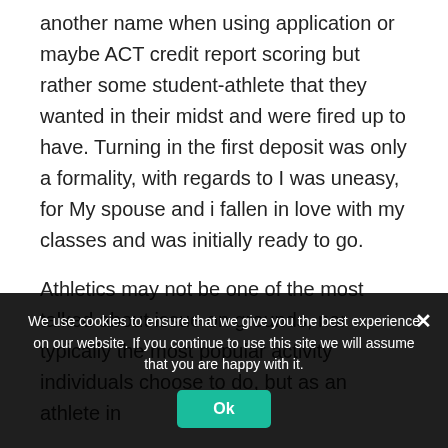another name when using application or maybe ACT credit report scoring but rather some student-athlete that they wanted in their midst and were fired up to have. Turning in the first deposit was only a formality, with regards to I was uneasy, for My spouse and i fallen in love with my classes and was initially ready to go.
Athletics may not be one of the most talked about issue on grounds, nor typically the most popular activity individuals choose to do, but as an athlete in
We use cookies to ensure that we give you the best experience on our website. If you continue to use this site we will assume that you are happy with it.